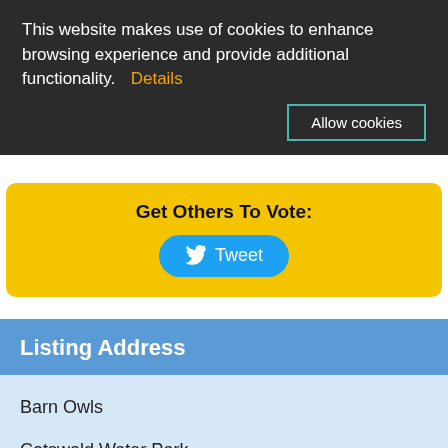This website makes use of cookies to enhance browsing experience and provide additional functionality.  Details
Allow cookies
Get Others To Vote:
Tweet
Listing Address
Barn Owls
Cotswold Water Park
Gloucestershire
Cotswolds